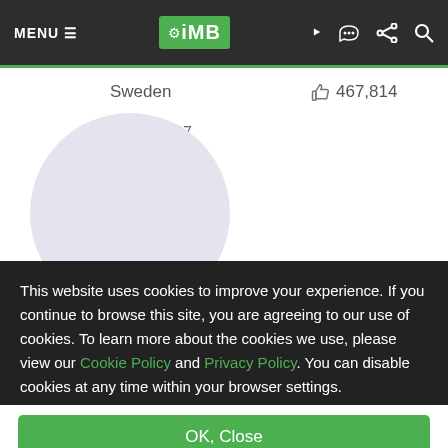MENU ≡  iMB  [RSS] [Share] [Search]
Sweden    👍 467,814
👍 167,167
[Figure (illustration): Light purple/lavender circular avatar placeholder]
This website uses cookies to improve your experience. If you continue to browse this site, you are agreeing to our use of cookies. To learn more about the cookies we use, please view our Cookie Policy and Privacy Policy. You can disable cookies at any time within your browser settings.
OK, Close